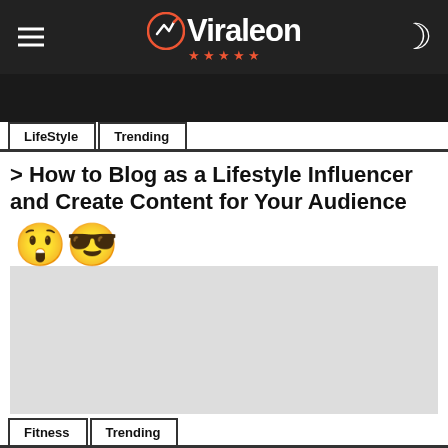Viraleon
[Figure (screenshot): Dark image strip (article hero image, partially visible)]
LifeStyle  Trending
> How to Blog as a Lifestyle Influencer and Create Content for Your Audience
[Figure (illustration): Two emoji icons: shocked face and cool sunglasses face, followed by a grey rectangular image placeholder]
Fitness  Trending
The Ultimate Workout Tips to Burn Fat and